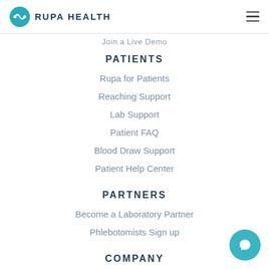RUPA HEALTH
Join a Live Demo
PATIENTS
Rupa for Patients
Reaching Support
Lab Support
Patient FAQ
Blood Draw Support
Patient Help Center
PARTNERS
Become a Laboratory Partner
Phlebotomists Sign up
COMPANY